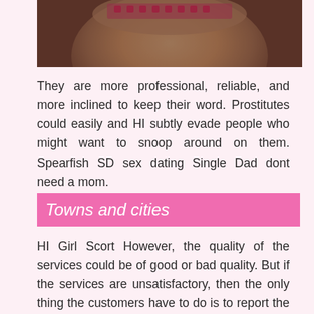[Figure (photo): Partial photo of a person with blonde hair and a patterned headband, cropped to show mostly hair and top of head]
They are more professional, reliable, and more inclined to keep their word. Prostitutes could easily and HI subtly evade people who might want to snoop around on them. Spearfish SD sex dating Single Dad dont need a mom.
Towns and cities
HI Girl Scort However, the quality of the services could be of good or bad quality. But if the services are unsatisfactory, then the only thing the customers have to do is to report the company to the Waimanall Business Bureau uawaii let the government take care of it. This is why people